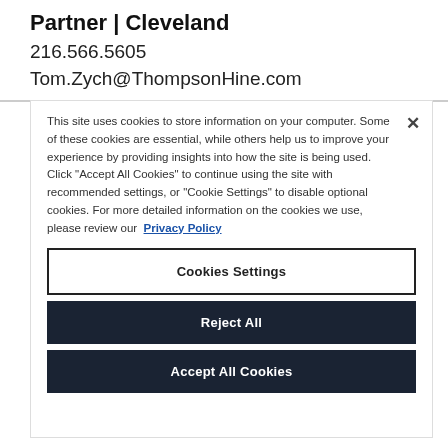Partner | Cleveland
216.566.5605
Tom.Zych@ThompsonHine.com
This site uses cookies to store information on your computer. Some of these cookies are essential, while others help us to improve your experience by providing insights into how the site is being used. Click "Accept All Cookies" to continue using the site with recommended settings, or "Cookie Settings" to disable optional cookies. For more detailed information on the cookies we use, please review our Privacy Policy
Cookies Settings
Reject All
Accept All Cookies